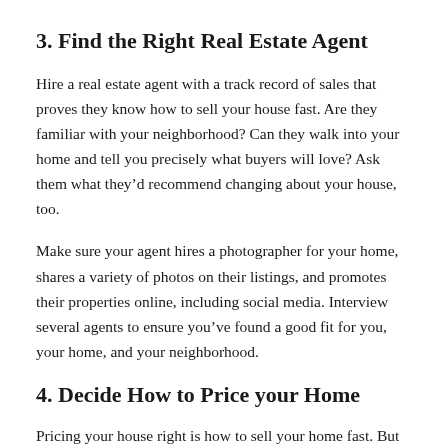3. Find the Right Real Estate Agent
Hire a real estate agent with a track record of sales that proves they know how to sell your house fast. Are they familiar with your neighborhood? Can they walk into your home and tell you precisely what buyers will love? Ask them what they’d recommend changing about your house, too.
Make sure your agent hires a photographer for your home, shares a variety of photos on their listings, and promotes their properties online, including social media. Interview several agents to ensure you’ve found a good fit for you, your home, and your neighborhood.
4. Decide How to Price your Home
Pricing your house right is how to sell your home fast. But pricing is as much of an art as a science sometimes. It’s not just about the age of the property but also the number of...